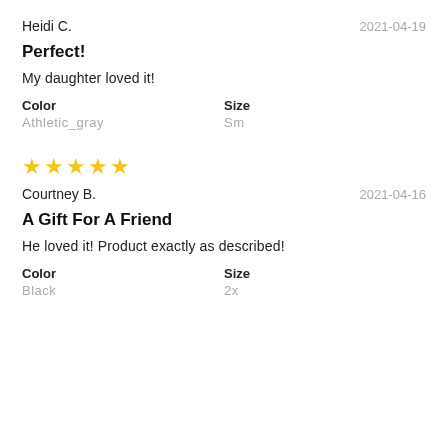Heidi C.
2021-04-19
Perfect!
My daughter loved it!
Color
Athletic_gray
Size
Sm
★★★★★
Courtney B.
2021-04-16
A Gift For A Friend
He loved it! Product exactly as described!
Color
Black
Size
2x